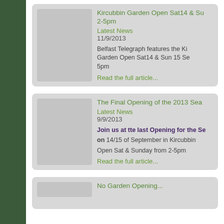Kircubbin Garden Open Sat14 & Su 2-5pm
Latest News
11/9/2013
Belfast Telegraph features the Ki Garden Open Sat14 & Sun 15 Se 5pm
Read the full article...
The Final Opening of the 2013 Sea
Latest News
9/9/2013
Join us at tte last Opening for the Se on 14/15 of September in Kircubbin
Open Sat & Sunday from 2-5pm
Read the full article...
No Garden Opening...